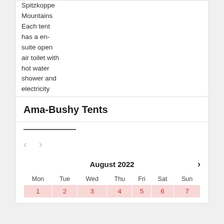Spitzkoppe Mountains Each tent has a en-suite open air toilet with hot water shower and electricity
Ama-Bushy Tents
[Figure (other): Navigation arrows (previous/next) and a decorative underline bar for an image carousel]
| Mon | Tue | Wed | Thu | Fri | Sat | Sun |
| --- | --- | --- | --- | --- | --- | --- |
| 1 | 2 | 3 | 4 | 5 | 6 | 7 |